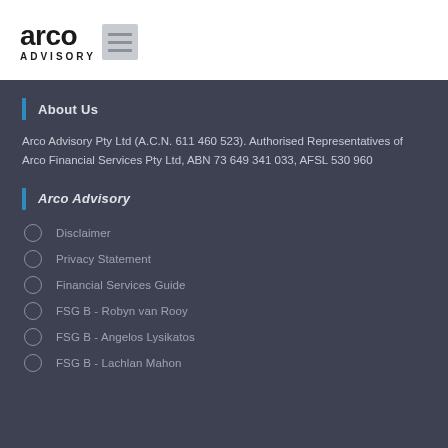[Figure (logo): Arco Advisory logo with bold 'arco' text and 'ADVISORY' subtitle, with a square icon of horizontal lines to the right]
About Us
Arco Advisory Pty Ltd (A.C.N. 611 460 523). Authorised Representatives of Arco Financial Services Pty Ltd, ABN 73 649 341 033, AFSL 530 960
Arco Advisory
Disclaimer
Privacy Statement
Financial Services Guide
FSG B - Robyn van Rooy
FSG B - Angelos Lysikatos
FSG B - Lachlan Mahon